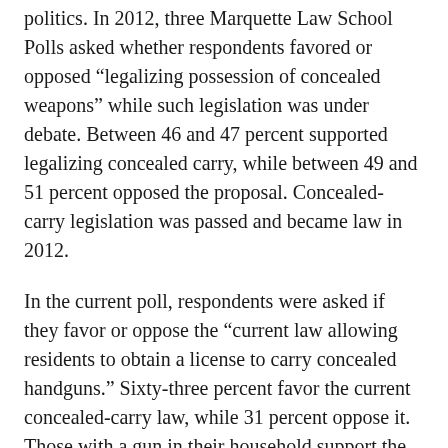politics. In 2012, three Marquette Law School Polls asked whether respondents favored or opposed “legalizing possession of concealed weapons” while such legislation was under debate. Between 46 and 47 percent supported legalizing concealed carry, while between 49 and 51 percent opposed the proposal. Concealed-carry legislation was passed and became law in 2012.
In the current poll, respondents were asked if they favor or oppose the “current law allowing residents to obtain a license to carry concealed handguns.” Sixty-three percent favor the current concealed-carry law, while 31 percent oppose it. Those with a gun in their household support the concealed-carry law by 80 percent to 18 percent, while those without a gun in the house oppose the law by 47 percent to 43 percent.
Respondents were also asked about a proposal to allow concealed-carry permit holders to have a gun on school grounds and for local school boards to have the option of